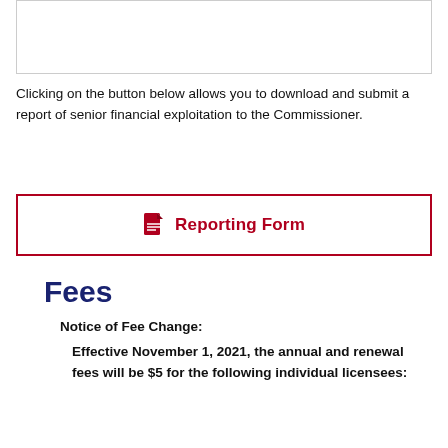[Figure (other): Empty bordered box at top of page, likely containing an image or content above the visible area]
Clicking on the button below allows you to download and submit a report of senior financial exploitation to the Commissioner.
[Figure (other): Button/link element with document icon and text 'Reporting Form' inside a red border box]
Fees
Notice of Fee Change:
Effective November 1, 2021, the annual and renewal fees will be $5 for the following individual licensees: